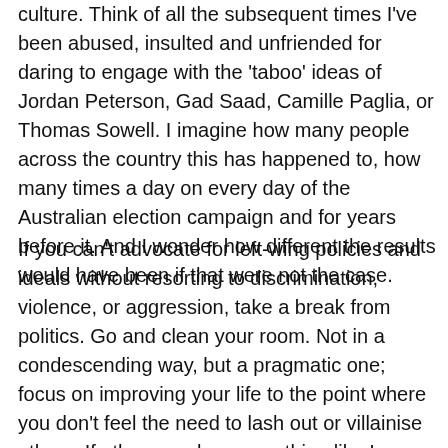culture. Think of all the subsequent times I've been abused, insulted and unfriended for daring to engage with the 'taboo' ideas of Jordan Peterson, Gad Saad, Camille Paglia, or Thomas Sowell. I imagine how many people across the country this has happened to, how many times a day on every day of the Australian election campaign and for years before it. And I wonder how different the results would have been if that were not the case.
If you can't advocate for left-wing policies and ideals without resorting to discrimination, violence, or aggression, take a break from politics. Go and clean your room. Not in a condescending way, but a pragmatic one; focus on improving your life to the point where you don't feel the need to lash out or villainise others. If other people are anything like I was at my darkest, political activism is less about others than it is about themselves. You have an obligation when claiming to represent important ideas or vulnerable people to only participate as far as you are effective. We have an